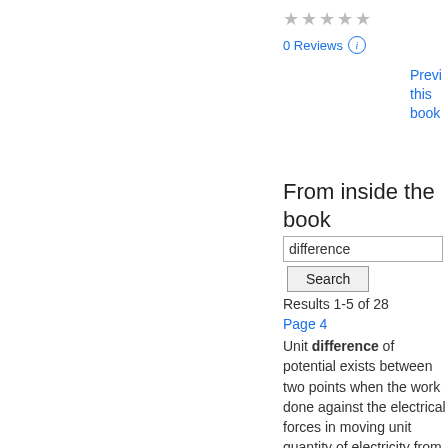★★★★★
0 Reviews ⓘ
Preview this book
From inside the book
difference
Search
Results 1-5 of 28
Page 4
Unit difference of potential exists between two points when the work done against the electrical forces in moving unit quantity of electricity from the one